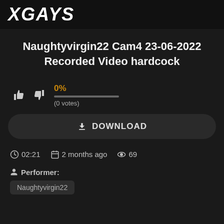XGAYS
Naughtyvirgin22 Cam4 23-06-2022 Recorded Video hardcock
0% (0 votes)
DOWNLOAD
02:21   2 months ago   69
Performer:
Naughtyvirgin22